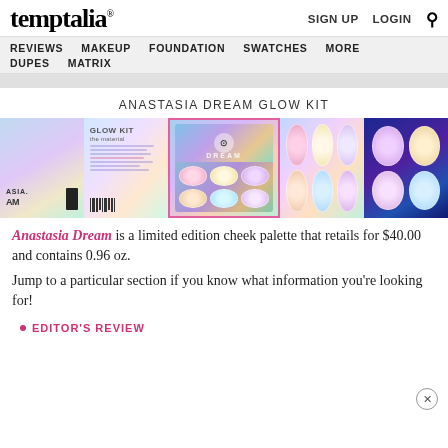temptalia® — SIGN UP LOGIN [search]
REVIEWS   MAKEUP   FOUNDATION   SWATCHES   MORE   DUPES   MATRIX
ANASTASIA DREAM GLOW KIT
[Figure (photo): Strip of 5 thumbnail photos of the Anastasia Dream Glow Kit palette, showing the packaging exterior, interior booklet, open palette with 6 highlighter pans, closeup of pans, and dark purple packaging. The center (3rd) thumbnail is selected with a pink border.]
Anastasia Dream is a limited edition cheek palette that retails for $40.00 and contains 0.96 oz.
Jump to a particular section if you know what information you're looking for!
EDITOR'S REVIEW